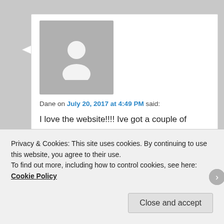[Figure (illustration): Generic user avatar: grey square with white silhouette of a person]
Dane on July 20, 2017 at 4:49 PM said:
I love the website!!!! Ive got a couple of questions that are rollin around in my dome: some folks have said society wouldn't exist without the development of agriculture, what are your thoughts? Or that the reason we have the ability to taste sweet things is because sweet things (in nature) tended to have things in it we need. Fruit
Privacy & Cookies: This site uses cookies. By continuing to use this website, you agree to their use.
To find out more, including how to control cookies, see here: Cookie Policy
Close and accept